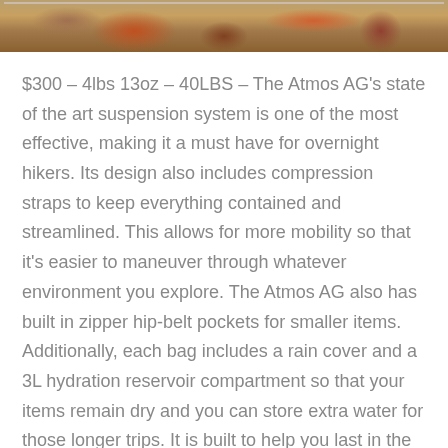[Figure (photo): Outdoor photo showing people with backpacks among autumn leaves, partially cropped at top of page]
$300 – 4lbs 13oz – 40LBS – The Atmos AG's state of the art suspension system is one of the most effective, making it a must have for overnight hikers. Its design also includes compression straps to keep everything contained and streamlined. This allows for more mobility so that it's easier to maneuver through whatever environment you explore. The Atmos AG also has built in zipper hip-belt pockets for smaller items. Additionally, each bag includes a rain cover and a 3L hydration reservoir compartment so that your items remain dry and you can store extra water for those longer trips. It is built to help you last in the great outdoors.